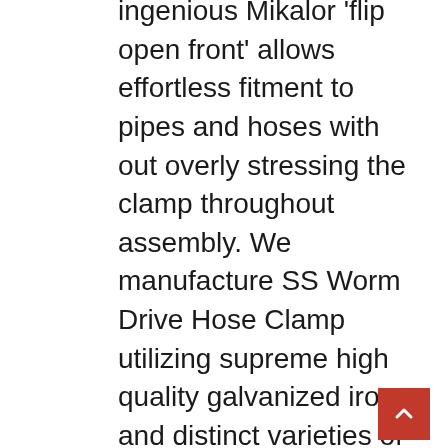ingenious Mikalor 'flip open front' allows effortless fitment to pipes and hoses with out overly stressing the clamp throughout assembly. We manufacture SS Worm Drive Hose Clamp utilizing supreme high quality galvanized iron and distinct varieties of stainless steel. The unique design and style of the Mikalor Supra heavy duty hose clamp guarantees an even clamping stress around the complete circumference of the hose clamp creating them perfect for securing hugely pressurised hoses or pipes, that function at higher temperatures such as exhaust pipes and coolant or turbo hoses. To attach and seal a hose onto a fitting such as a barb or nipple the provided hose clamps are utilized in a variety of fields. Pairs of screw clamps on a short rubber tube type a